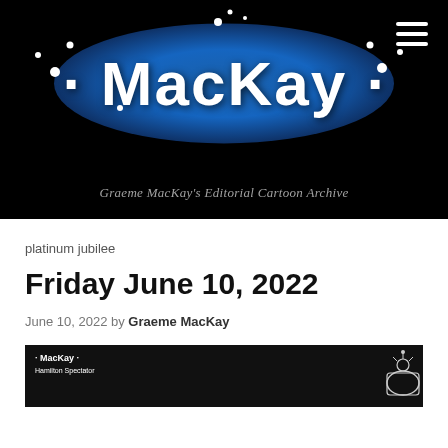[Figure (logo): Graeme MacKay editorial cartoon archive logo — white stylized 'MacKay' text on a dark blue radial glow against a black background, with decorative dots]
Graeme MacKay's Editorial Cartoon Archive
platinum jubilee
Friday June 10, 2022
June 10, 2022 by Graeme MacKay
[Figure (illustration): Thumbnail of a MacKay editorial cartoon on dark background with small logo text visible at top left and decorative element at right]